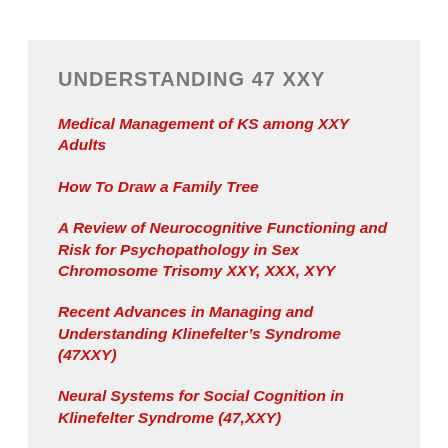UNDERSTANDING 47 XXY
Medical Management of KS among XXY Adults
How To Draw a Family Tree
A Review of Neurocognitive Functioning and Risk for Psychopathology in Sex Chromosome Trisomy XXY, XXX, XYY
Recent Advances in Managing and Understanding Klinefelter’s Syndrome (47XXY)
Neural Systems for Social Cognition in Klinefelter Syndrome (47,XXY)
A cross-sectional study of early language abilities in children with sex chromosome anomalies (XXY…